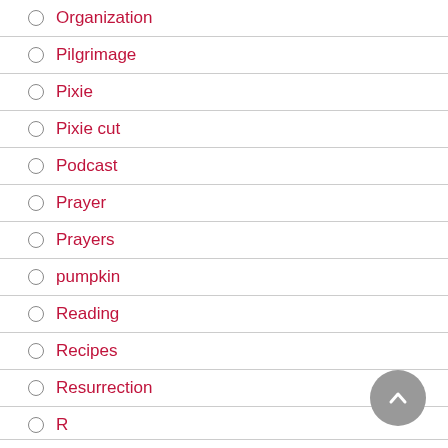Organization
Pilgrimage
Pixie
Pixie cut
Podcast
Prayer
Prayers
pumpkin
Reading
Recipes
Resurrection
R…